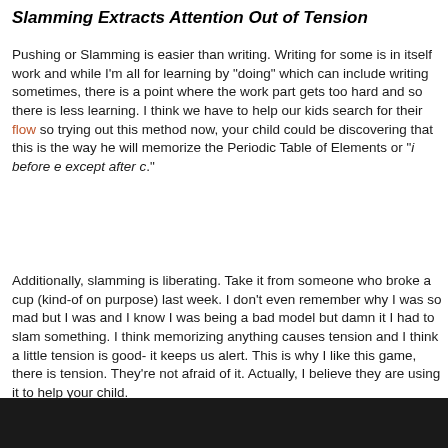Slamming Extracts Attention Out of Tension
Pushing or Slamming is easier than writing.  Writing for some is in itself work and while I'm all for learning by "doing" which can include writing sometimes, there is a point where the work part gets too hard and so there is less learning.  I think we have to help our kids search for their flow so trying out this method now, your child could be discovering that this is the way he will memorize the Periodic Table of Elements or "i before e except after c."
Additionally, slamming is liberating.  Take it from someone who broke a cup (kind-of on purpose) last week. I don't even remember why I was so mad but I was and I know I was being a bad model but damn it I had to slam something. I think memorizing anything causes tension and I think a little tension is good- it keeps us alert. This is why I like this game, there is tension. They're not afraid of it. Actually, I believe they are using it to help your child.
[Figure (photo): Dark black bar at the bottom of the page]